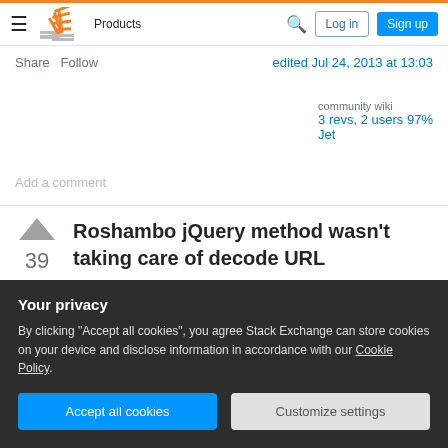Products | Log in | Sign up
Share  Follow
edited Jul 24, 2013 at 13:03
community wiki
3 revs, 2 users 97%
Jet
Add a comment
Roshambo jQuery method wasn't taking care of decode URL
39
Your privacy
By clicking "Accept all cookies", you agree Stack Exchange can store cookies on your device and disclose information in accordance with our Cookie Policy.
Accept all cookies  Customize settings